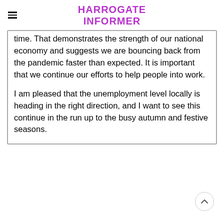HARROGATE INFORMER
time. That demonstrates the strength of our national economy and suggests we are bouncing back from the pandemic faster than expected. It is important that we continue our efforts to help people into work.
I am pleased that the unemployment level locally is heading in the right direction, and I want to see this continue in the run up to the busy autumn and festive seasons.